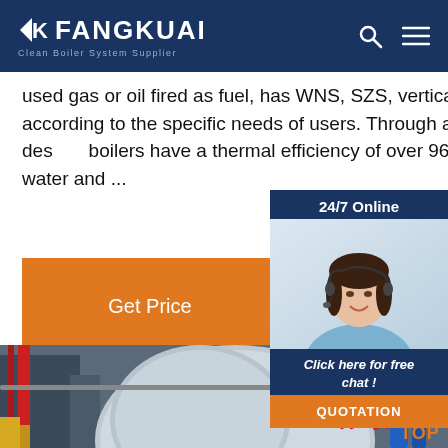FANGKUAI - Clean Boiler System Supplier
used gas or oil fired as fuel, has WNS, SZS, vertical structure, which are selected according to the specific needs of users. Through advanced technology and excellent design, boilers have a thermal efficiency of over 96%, providing high temperature hot water and ...
Get Price
24/7 Online
[Figure (photo): Customer service agent/representative with headset, smiling, on sidebar widget]
Click here for free chat !
QUOTATION
[Figure (photo): Industrial boiler equipment with FANGKUAI branding and Chinese characters 方快 on a large cylindrical boiler tank, with industrial piping and machinery in background]